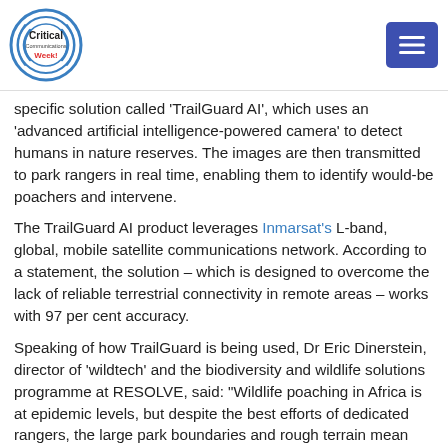Critical Communications Week! [logo] [menu button]
specific solution called 'TrailGuard AI', which uses an 'advanced artificial intelligence-powered camera' to detect humans in nature reserves. The images are then transmitted to park rangers in real time, enabling them to identify would-be poachers and intervene.
The TrailGuard AI product leverages Inmarsat's L-band, global, mobile satellite communications network. According to a statement, the solution – which is designed to overcome the lack of reliable terrestrial connectivity in remote areas – works with 97 per cent accuracy.
Speaking of how TrailGuard is being used, Dr Eric Dinerstein, director of 'wildtech' and the biodiversity and wildlife solutions programme at RESOLVE, said: "Wildlife poaching in Africa is at epidemic levels, but despite the best efforts of dedicated rangers, the large park boundaries and rough terrain mean that they often only find out about poaching when it's too late.
"The TrailGuard AI can automatically...